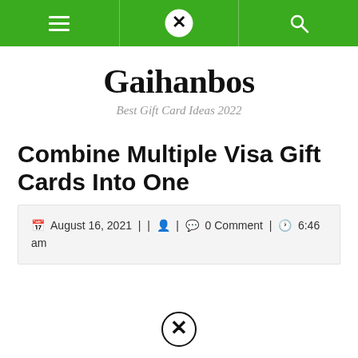Gaihanbos — Navigation bar with hamburger menu, logo, and search icon
Gaihanbos
Best Gift Card Ideas 2022
Combine Multiple Visa Gift Cards Into One
August 16, 2021 | | | 0 Comment | 6:46 am